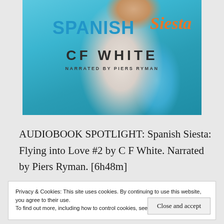[Figure (illustration): Audiobook cover for 'Spanish Siesta' by CF White, narrated by Piers Ryman. Shows a man in a white t-shirt against a Mediterranean beach background with turquoise water. Title 'SPANISH' in bold blue letters, 'Siesta' in orange italic script, author 'CF WHITE' in large dark bold letters, 'NARRATED BY PIERS RYMAN' in small caps below.]
AUDIOBOOK SPOTLIGHT: Spanish Siesta: Flying into Love #2 by C F White. Narrated by Piers Ryman. [6h48m]
Privacy & Cookies: This site uses cookies. By continuing to use this website, you agree to their use.
To find out more, including how to control cookies, see here: Cookie Policy
Close and accept